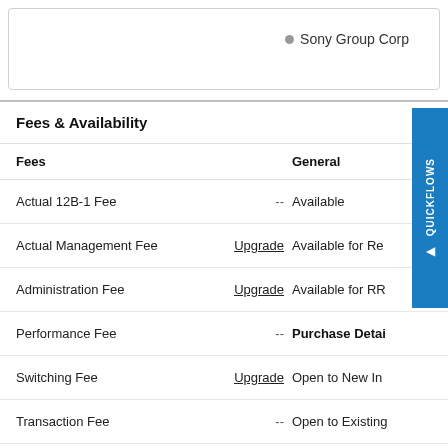Sony Group Corp
Fees & Availability
| Fees |  | General |
| --- | --- | --- |
| Actual 12B-1 Fee | -- | Available |
| Actual Management Fee | Upgrade | Available for Re |
| Administration Fee | Upgrade | Available for RR |
| Performance Fee | -- | Purchase Detail |
| Switching Fee | Upgrade | Open to New In |
| Transaction Fee | -- | Open to Existing |
| Maximum Front Load | -- | Minimum Initial |